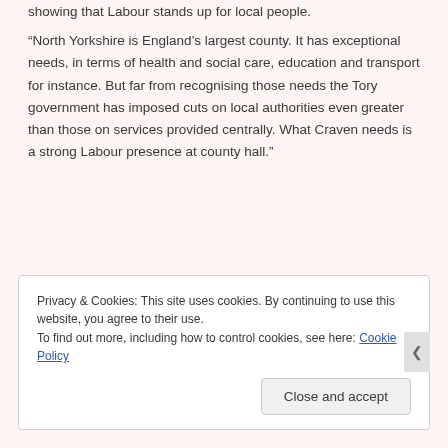showing that Labour stands up for local people.
“North Yorkshire is England’s largest county. It has exceptional needs, in terms of health and social care, education and transport for instance. But far from recognising those needs the Tory government has imposed cuts on local authorities even greater than those on services provided centrally. What Craven needs is a strong Labour presence at county hall.”
Contact details:  Peter Madeley 07432 097617
Privacy & Cookies: This site uses cookies. By continuing to use this website, you agree to their use.
To find out more, including how to control cookies, see here: Cookie Policy